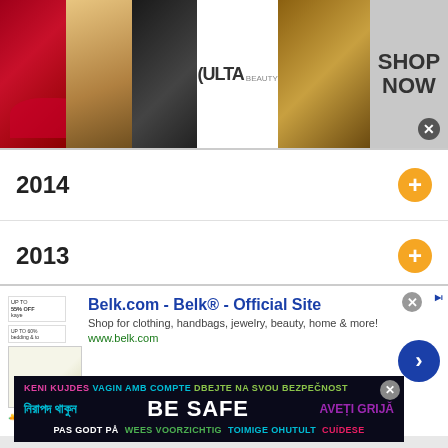[Figure (screenshot): Ulta Beauty advertisement banner with makeup images and SHOP NOW call to action]
2014
2013
2012 (partial)
[Figure (screenshot): BE SAFE multilingual safety banner with text in multiple languages: KENI KUJDES, VAGIN AMB COMPTE, DBEJTE NA SVOU BEZPECNOST, Bengali text, BE SAFE, AVETI GRIJA, PAS GODT PA, WEES VOORZICHTIG, TOIMIGE OHUTULT, CUIDESE]
[Figure (screenshot): Belk.com advertisement: Belk® - Official Site. Shop for clothing, handbags, jewelry, beauty, home & more! www.belk.com]